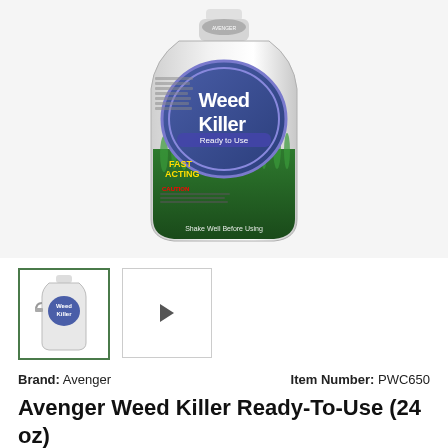[Figure (photo): Avenger Weed Killer Ready-To-Use 24 oz spray bottle with purple circular label reading 'Weed Killer Ready to Use', green grass background on label, 'FAST ACTING' text, and caution text at bottom.]
[Figure (photo): Small thumbnail image of weed killer spray bottle (trigger sprayer view)]
[Figure (photo): Small thumbnail image placeholder with right arrow indicating more images]
Brand: Avenger
Item Number: PWC650
Avenger Weed Killer Ready-To-Use (24 oz)